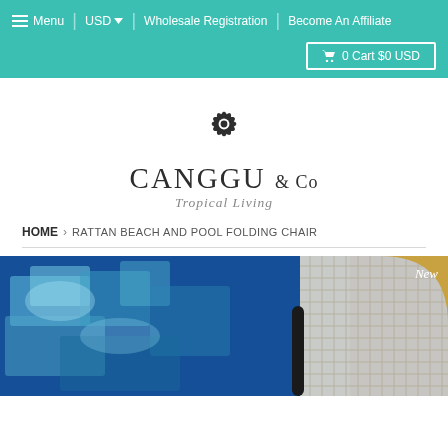Menu | USD | Wholesale Registration | Become An Affiliate | 0 Cart $0 USD
[Figure (logo): Canggu & Co Tropical Living logo with decorative flower/leaf mandala above stylized serif text]
HOME › RATTAN BEACH AND POOL FOLDING CHAIR
[Figure (photo): Product photo of rattan/mesh folding chair positioned by a pool with blue mosaic tiles. A gold 'New' badge overlay in the top-right corner.]